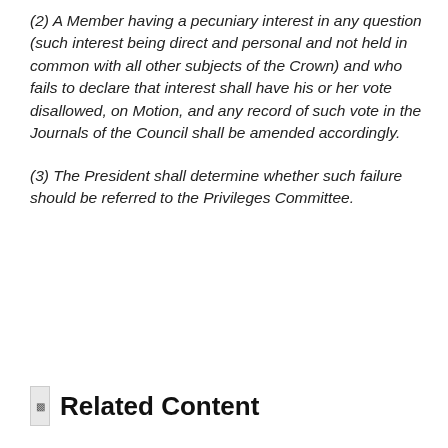(2) A Member having a pecuniary interest in any question (such interest being direct and personal and not held in common with all other subjects of the Crown) and who fails to declare that interest shall have his or her vote disallowed, on Motion, and any record of such vote in the Journals of the Council shall be amended accordingly.
(3) The President shall determine whether such failure should be referred to the Privileges Committee.
Related Content